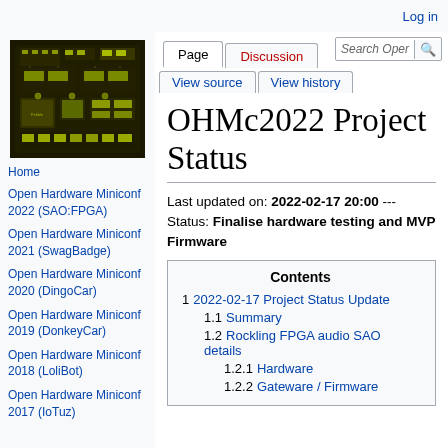Log in
[Figure (photo): PCB circuit board with yellow-green components on dark background, labeled Pebble]
Home
Open Hardware Miniconf 2022 (SAO:FPGA)
Open Hardware Miniconf 2021 (SwagBadge)
Open Hardware Miniconf 2020 (DingoCar)
Open Hardware Miniconf 2019 (DonkeyCar)
Open Hardware Miniconf 2018 (LoliBot)
Open Hardware Miniconf 2017 (IoTuz)
OHMc2022 Project Status
Last updated on: 2022-02-17 20:00 --- Status: Finalise hardware testing and MVP Firmware
Contents
1 2022-02-17 Project Status Update
1.1 Summary
1.2 Rockling FPGA audio SAO details
1.2.1 Hardware
1.2.2 Gateware / Firmware